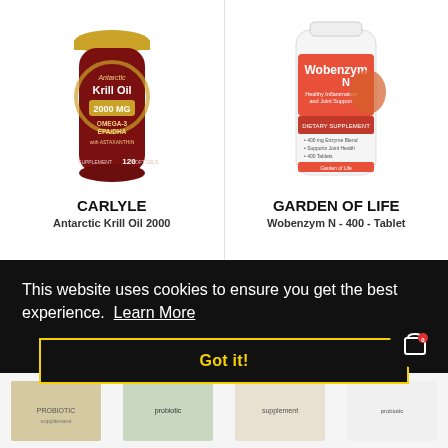[Figure (photo): Carlyle Antarctic Krill Oil 2000 supplement bottle, dark red bottle with gold cap, 120 softgels]
CARLYLE
Antarctic Krill Oil 2000
[Figure (photo): Wobenzym N supplement bottle, white bottle with orange/red label, tablets]
GARDEN OF LIFE
Wobenzym N - 400 - Tablet
€55.00
€171.00
This website uses cookies to ensure you get the best experience.  Learn More
Got it!